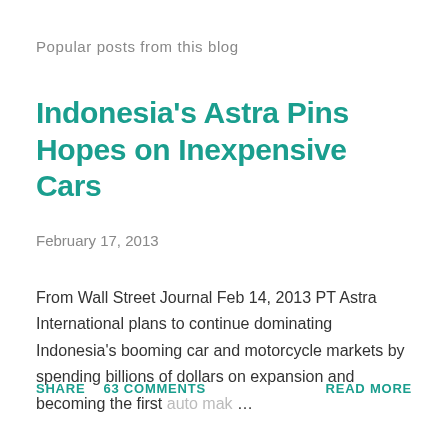Popular posts from this blog
Indonesia's Astra Pins Hopes on Inexpensive Cars
February 17, 2013
From Wall Street Journal Feb 14, 2013 PT Astra International plans to continue dominating Indonesia's booming car and motorcycle markets by spending billions of dollars on expansion and becoming the first auto mak …
SHARE   63 COMMENTS   READ MORE